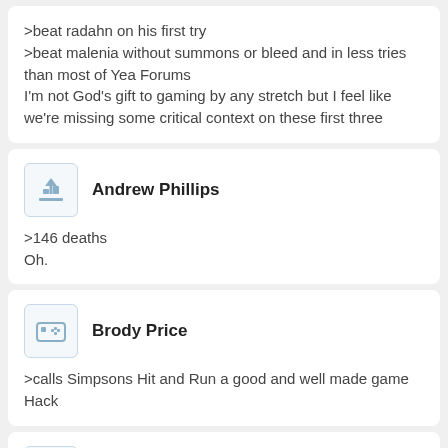>beat radahn on his first try
>beat malenia without summons or bleed and in less tries than most of Yea Forums
I'm not God's gift to gaming by any stretch but I feel like we're missing some critical context on these first three
Andrew Phillips
>146 deaths
Oh.
Brody Price
>calls Simpsons Hit and Run a good and well made game
Hack
Chase Gonzalez
big ups to #elden-ring-library on discord, fextralife, and